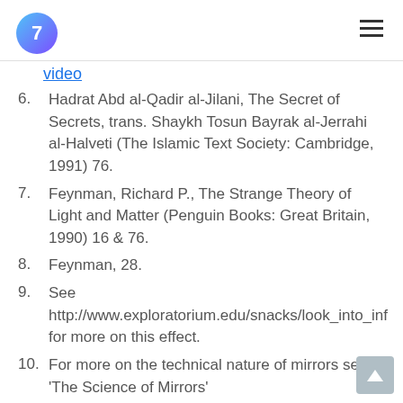7
video
6. Hadrat Abd al-Qadir al-Jilani, The Secret of Secrets, trans. Shaykh Tosun Bayrak al-Jerrahi al-Halveti (The Islamic Text Society: Cambridge, 1991) 76.
7. Feynman, Richard P., The Strange Theory of Light and Matter (Penguin Books: Great Britain, 1990) 16 & 76.
8. Feynman, 28.
9. See http://www.exploratorium.edu/snacks/look_into_inf for more on this effect.
10. For more on the technical nature of mirrors see 'The Science of Mirrors'